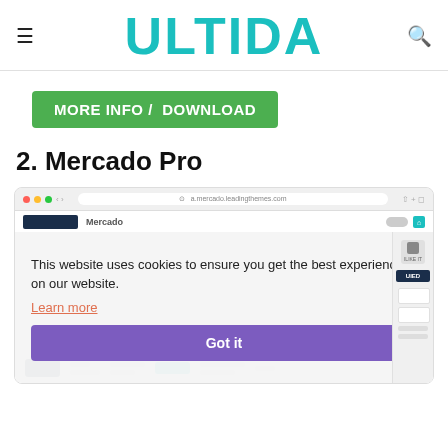ULTIDA
[Figure (screenshot): Green button labeled MORE INFO / DOWNLOAD]
2. Mercado Pro
[Figure (screenshot): Browser screenshot of Mercado Pro website with cookie consent overlay showing text 'This website uses cookies to ensure you get the best experience on our website.' with a Learn more link and a purple Got it button]
This website uses cookies to ensure you get the best experience on our website.
Learn more
Got it